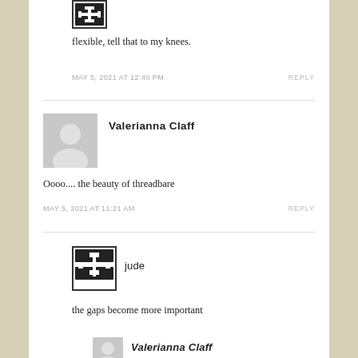[Figure (illustration): Puzzle-piece avatar icon for jude, top]
flexible, tell that to my knees.
MAY 5, 2021 AT 12:40 PM
REPLY
[Figure (illustration): Generic user silhouette avatar for Valerianna Claff]
Valerianna Claff
Oooo.... the beauty of threadbare
MAY 5, 2021 AT 11:21 AM
REPLY
[Figure (illustration): Puzzle-piece avatar icon for jude]
jude
the gaps become more important
MAY 5, 2021 AT 12:40 PM
REPLY
[Figure (illustration): Generic user silhouette avatar for Valerianna Claff, partial]
Valerianna Claff